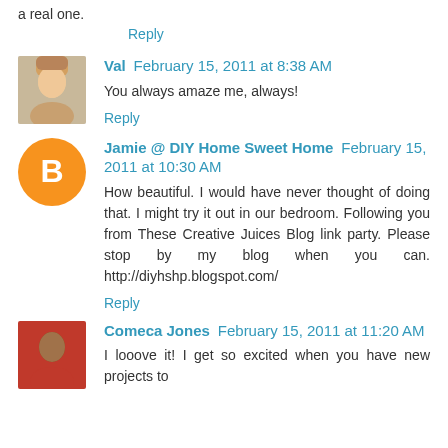a real one.
Reply
Val  February 15, 2011 at 8:38 AM
You always amaze me, always!
Reply
Jamie @ DIY Home Sweet Home  February 15, 2011 at 10:30 AM
How beautiful. I would have never thought of doing that. I might try it out in our bedroom. Following you from These Creative Juices Blog link party. Please stop by my blog when you can. http://diyhshp.blogspot.com/
Reply
Comeca Jones  February 15, 2011 at 11:20 AM
I looove it! I get so excited when you have new projects to